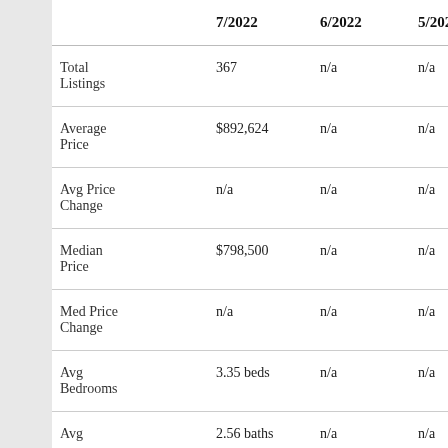|  | 7/2022 | 6/2022 | 5/2022 | 4/2022 | 3/... |
| --- | --- | --- | --- | --- | --- |
| Total Listings | 367 | n/a | n/a | n/a | 277... |
| Average Price | $892,624 | n/a | n/a | n/a | $83... |
| Avg Price Change | n/a | n/a | n/a | n/a | +1.... |
| Median Price | $798,500 | n/a | n/a | n/a | $75... |
| Med Price Change | n/a | n/a | n/a | n/a | +2.... |
| Avg Bedrooms | 3.35 beds | n/a | n/a | n/a | 3.0... |
| Avg | 2.56 baths | n/a | n/a | n/a | 2.3... |